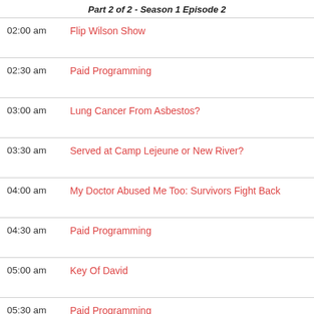Part 2 of 2 - Season 1 Episode 2
02:00 am  Flip Wilson Show
02:30 am  Paid Programming
03:00 am  Lung Cancer From Asbestos?
03:30 am  Served at Camp Lejeune or New River?
04:00 am  My Doctor Abused Me Too: Survivors Fight Back
04:30 am  Paid Programming
05:00 am  Key Of David
05:30 am  Paid Programming